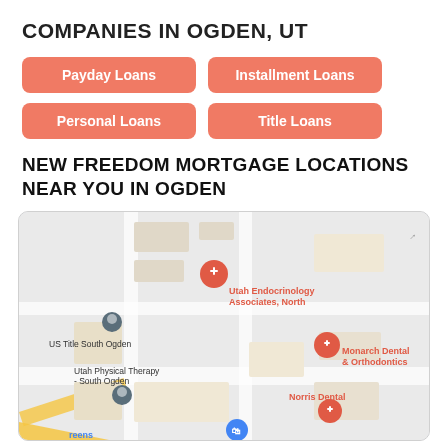COMPANIES IN OGDEN, UT
Payday Loans
Installment Loans
Personal Loans
Title Loans
NEW FREEDOM MORTGAGE LOCATIONS NEAR YOU IN OGDEN
[Figure (map): Google Maps screenshot showing South Ogden, UT area with location pins for: Utah Endocrinology Associates North, US Title South Ogden, Utah Physical Therapy - South Ogden, Monarch Dental & Orthodontics, Norris Dental, and a blue shopping pin. A yellow road runs along the bottom left.]